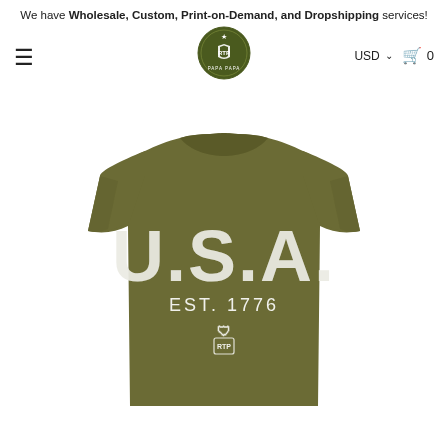We have Wholesale, Custom, Print-on-Demand, and Dropshipping services!
[Figure (logo): Circular dark olive green logo with a shield and star design, brand name around the edge]
≡  USD ▾  🛒 0
[Figure (photo): Olive green t-shirt with distressed white U.S.A. EST. 1776 graphic print and small brand logo below the text]